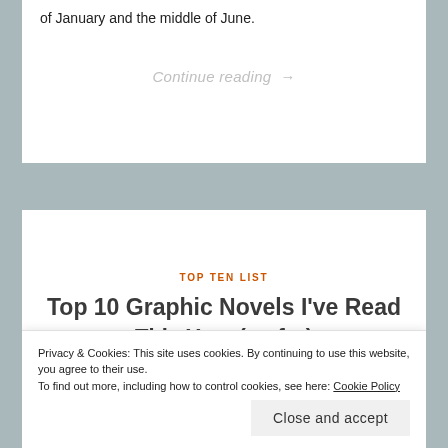of January and the middle of June.
Continue reading →
TOP TEN LIST
Top 10 Graphic Novels I've Read This Year (so far)
Privacy & Cookies: This site uses cookies. By continuing to use this website, you agree to their use.
To find out more, including how to control cookies, see here: Cookie Policy
Close and accept